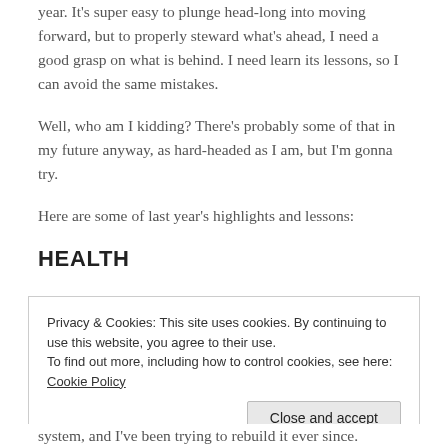year. It's super easy to plunge head-long into moving forward, but to properly steward what's ahead, I need a good grasp on what is behind. I need learn its lessons, so I can avoid the same mistakes.
Well, who am I kidding? There's probably some of that in my future anyway, as hard-headed as I am, but I'm gonna try.
Here are some of last year's highlights and lessons:
HEALTH
Privacy & Cookies: This site uses cookies. By continuing to use this website, you agree to their use.
To find out more, including how to control cookies, see here: Cookie Policy
Close and accept
system, and I've been trying to rebuild it ever since.